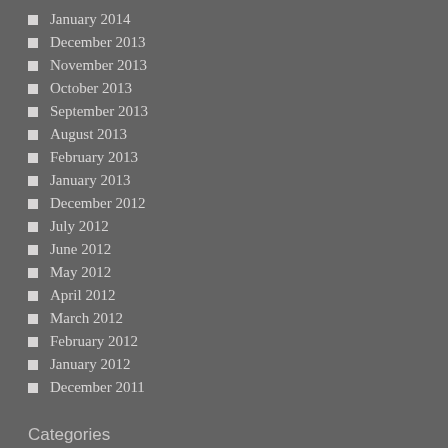January 2014
December 2013
November 2013
October 2013
September 2013
August 2013
February 2013
January 2013
December 2012
July 2012
June 2012
May 2012
April 2012
March 2012
February 2012
January 2012
December 2011
Categories
#boldbeginnings
Advertising
Design
Education
Family